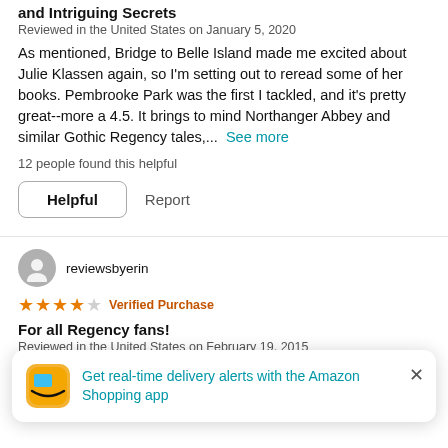and Intriguing Secrets
Reviewed in the United States on January 5, 2020
As mentioned, Bridge to Belle Island made me excited about Julie Klassen again, so I'm setting out to reread some of her books. Pembrooke Park was the first I tackled, and it's pretty great--more a 4.5. It brings to mind Northanger Abbey and similar Gothic Regency tales,...  See more
12 people found this helpful
Helpful   Report
reviewsbyerin
4 stars - Verified Purchase
For all Regency fans!
Reviewed in the United States on February 19, 2015
A responsible eldest daughter and a house full of secrets take the stage in the latest Regency novel from Julie
Get real-time delivery alerts with the Amazon Shopping app